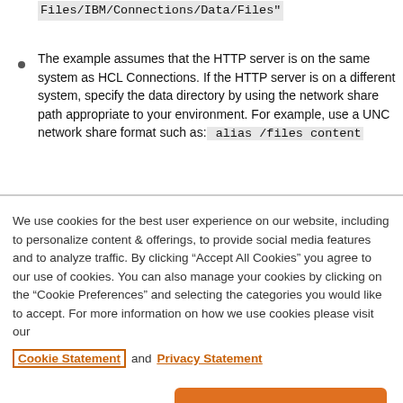Files/IBM/Connections/Data/Files" (code block)
The example assumes that the HTTP server is on the same system as HCL Connections. If the HTTP server is on a different system, specify the data directory by using the network share path appropriate to your environment. For example, use a UNC network share format such as: alias /files content
We use cookies for the best user experience on our website, including to personalize content & offerings, to provide social media features and to analyze traffic. By clicking “Accept All Cookies” you agree to our use of cookies. You can also manage your cookies by clicking on the “Cookie Preferences” and selecting the categories you would like to accept. For more information on how we use cookies please visit our Cookie Statement and Privacy Statement